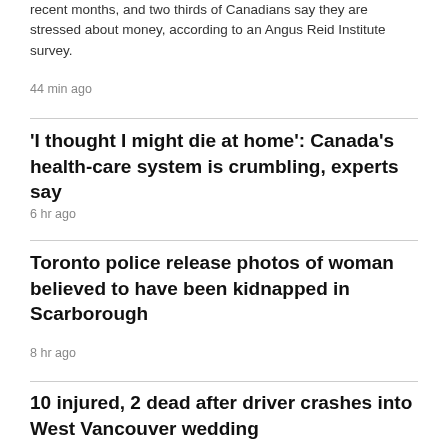recent months, and two thirds of Canadians say they are stressed about money, according to an Angus Reid Institute survey.
44 min ago
'I thought I might die at home': Canada's health-care system is crumbling, experts say
6 hr ago
Toronto police release photos of woman believed to have been kidnapped in Scarborough
8 hr ago
10 injured, 2 dead after driver crashes into West Vancouver wedding
8 hr ago